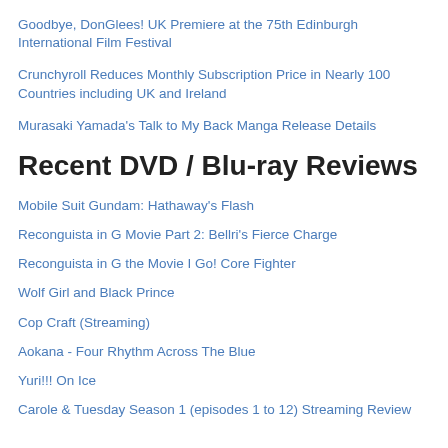Goodbye, DonGlees! UK Premiere at the 75th Edinburgh International Film Festival
Crunchyroll Reduces Monthly Subscription Price in Nearly 100 Countries including UK and Ireland
Murasaki Yamada's Talk to My Back Manga Release Details
Recent DVD / Blu-ray Reviews
Mobile Suit Gundam: Hathaway's Flash
Reconguista in G Movie Part 2: Bellri's Fierce Charge
Reconguista in G the Movie I Go! Core Fighter
Wolf Girl and Black Prince
Cop Craft (Streaming)
Aokana - Four Rhythm Across The Blue
Yuri!!! On Ice
Carole & Tuesday Season 1 (episodes 1 to 12) Streaming Review